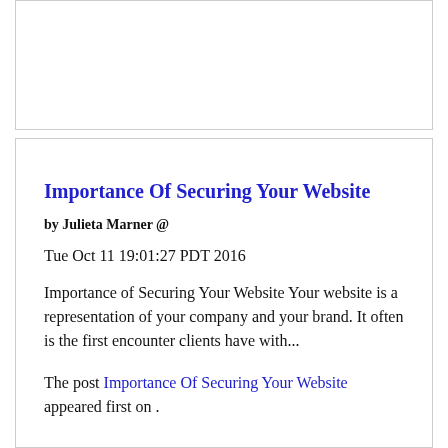Importance Of Securing Your Website
by Julieta Marner @
Tue Oct 11 19:01:27 PDT 2016
Importance of Securing Your Website Your website is a representation of your company and your brand. It often is the first encounter clients have with...
The post Importance Of Securing Your Website appeared first on .